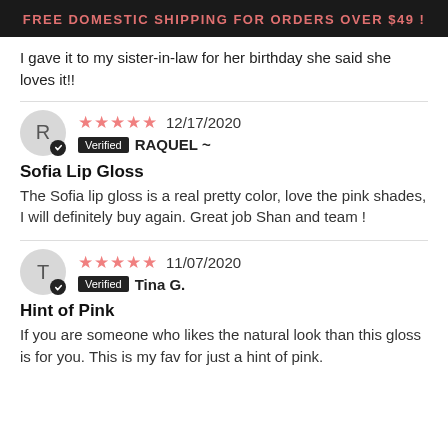FREE DOMESTIC SHIPPING FOR ORDERS OVER $49 !
I gave it to my sister-in-law for her birthday she said she loves it!!
★★★★★ 12/17/2020 Verified RAQUEL ~
Sofia Lip Gloss
The Sofia lip gloss is a real pretty color, love the pink shades, I will definitely buy again. Great job Shan and team !
★★★★★ 11/07/2020 Verified Tina G.
Hint of Pink
If you are someone who likes the natural look than this gloss is for you. This is my fav for just a hint of pink.